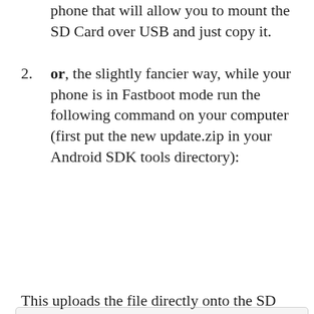phone that will allow you to mount the SD Card over USB and just copy it.
or, the slightly fancier way, while your phone is in Fastboot mode run the following command on your computer (first put the new update.zip in your Android SDK tools directory):
Privacy & Cookies: This site uses cookies. By continuing to use this website, you agree to their use.
To find out more, including how to control cookies, see here:
Cookie Policy
Close and accept
This uploads the file directly onto the SD